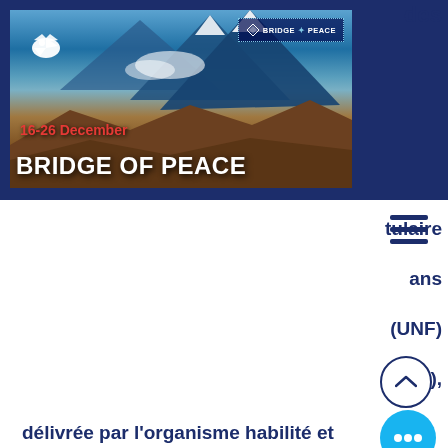[Figure (illustration): Bridge of Peace film festival banner showing mountain landscape with blue sky, snow-capped peaks, a white dove top-left, Bridge of Peace logo top-right, date '16-26 December' in red, and large white bold text 'BRIDGE OF PEACE' at bottom. Dark navy blue background surrounds the image. Hamburger menu icon visible on right side.]
tulaire
ans
(UNF)
U),
délivrée par l'organisme habilité et valable au moment de la le festival; - matériaux pour le catalogue (synopsis en anglais et français, biographie et filmographie du réalisateur en anglais et français, photographie du réalisateur,